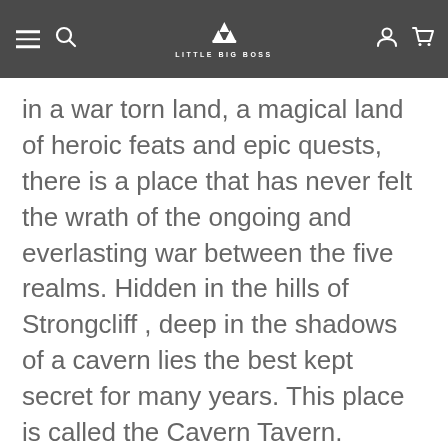Little Big Boss navigation header
in a war torn land, a magical land of heroic feats and epic quests, there is a place that has never felt the wrath of the ongoing and everlasting war between the five realms. Hidden in the hills of Strongcliff , deep in the shadows of a cavern lies the best kept secret for many years. This place is called the Cavern Tavern. Cavern Tavern is a worker (dice) placement and resource management game that is set in a fantasy world. Each player assumes the role of a worker in the tavern. Your job is to serve drinks, work in the kitchen, do chores, and on top of that try to keep every guest happy, including the nasty and greedy barkeep. On each turn, a player